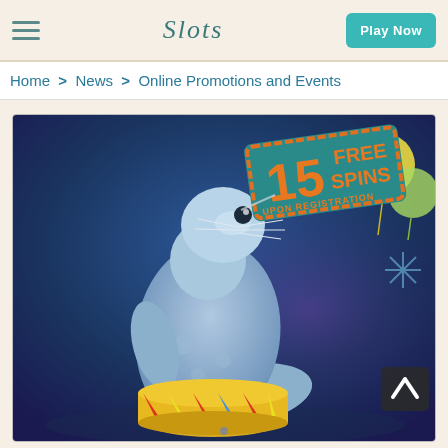Slots — Play Now
Home > News > Online Promotions and Events
[Figure (illustration): Promotional image for an online casino showing a cartoon sea lion/seal balancing a sign on its nose that reads '15 FREE SPINS UPON REGISTRATION'. The seal is sitting on a colorful circus drum/podium with red, yellow and blue triangles. Background is dark blue/purple with balloons and decorative elements. A scroll-up chevron button appears in the bottom right.]